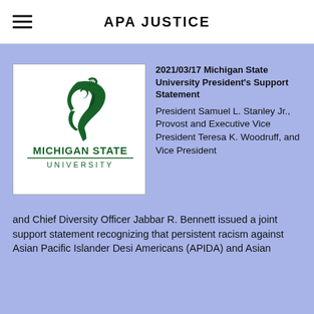APA JUSTICE
[Figure (logo): Michigan State University logo with Spartan helmet and text MICHIGAN STATE UNIVERSITY]
2021/03/17 Michigan State University President's Support Statement
President Samuel L. Stanley Jr., Provost and Executive Vice President Teresa K. Woodruff, and Vice President and Chief Diversity Officer Jabbar R. Bennett issued a joint support statement recognizing that persistent racism against Asian Pacific Islander Desi Americans (APIDA) and Asian